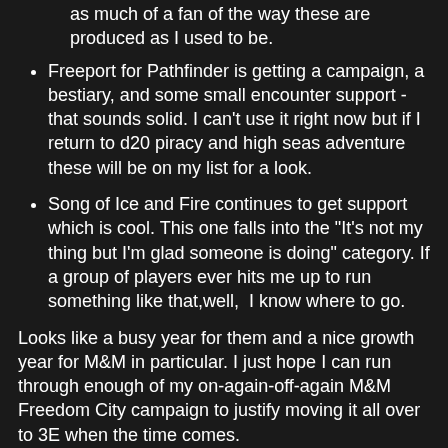as much of a fan of the way these are produced as I used to be.
Freeport for Pathfinder is getting a campaign, a bestiary, and some small encounter support - that sounds solid. I can't use it right now but if I return to d20 piracy and high seas adventure these will be on my list for a look.
Song of Ice and Fire continues to get support which is cool. This one falls into the "It's not my thing but I'm glad someone is doing" category. If a group of players ever hits me up to run something like that,well,  I know where to go.
Looks like a busy year for them and a nice growth year for M&M in particular. I just hope I can run through enough of my on-again-off-again M&M Freedom City campaign to justify moving it all over to 3E when the time comes.
Blacksteel at 12:23 PM   1 comment: